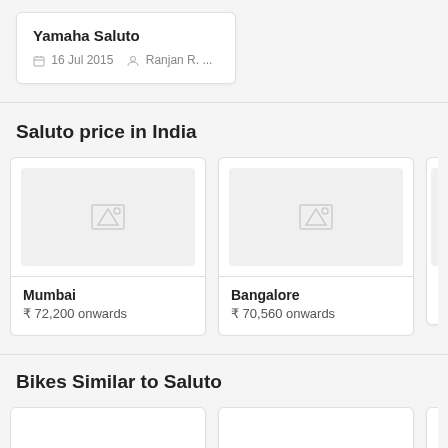Yamaha Saluto
16 Jul 2015   Ranjan R. ...
Saluto price in India
Mumbai
₹ 72,200 onwards
Bangalore
₹ 70,560 onwards
Bikes Similar to Saluto